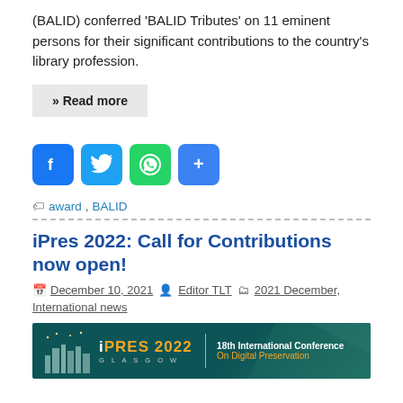(BALID) conferred 'BALID Tributes' on 11 eminent persons for their significant contributions to the country's library profession.
» Read more
[Figure (infographic): Social media share buttons: Facebook (blue), Twitter (light blue), WhatsApp (green), Share/plus (blue)]
award, BALID
iPres 2022: Call for Contributions now open!
December 10, 2021  Editor TLT  2021 December, International news
[Figure (infographic): iPRES 2022 Glasgow banner: 18th International Conference On Digital Preservation. Dark teal background with city skyline silhouette on left and hexagonal pattern on right.]